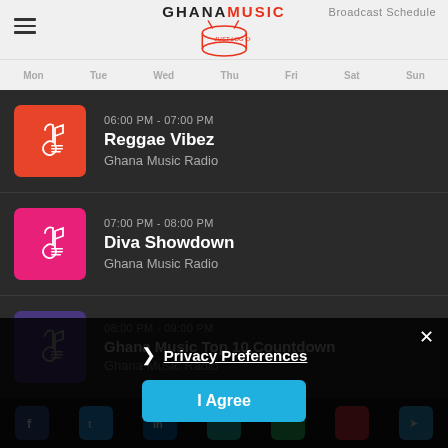GhanaMusic — Broadcast Schedule
Mon  Tue  Wed  Thu  Fri  Sat  Sun
06:00 PM - 07:00 PM
Reggae Vibez
Ghana Music Radio
07:00 PM - 08:00 PM
Diva Showdown
Ghana Music Radio
08:00 PM - 09:00 PM
Ghana Music Top 10 Countdown
Ghana Music Radio
09:00 PM - ...
❯ Privacy Preferences
I Agree